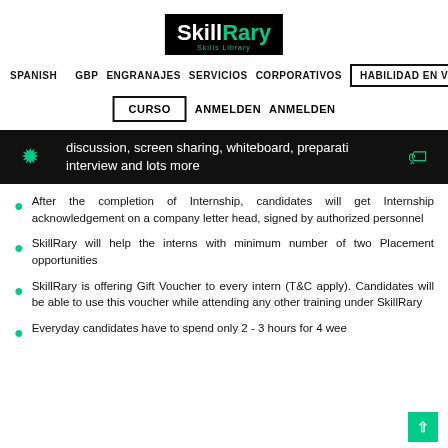[Figure (logo): SkillRary logo on black background with green text]
SPANISH GBP ENGRANAJES SERVICIOS CORPORATIVOS HABILIDAD EN VIVO
CURSO ANMELDEN ANMELDEN
discussion, screen sharing, whiteboard, preparation interview and lots more
After the completion of Internship, candidates will get Internship acknowledgement on a company letter head, signed by authorized personnel
SkillRary will help the interns with minimum number of two Placement opportunities
SkillRary is offering Gift Voucher to every intern (T&C apply). Candidates will be able to use this voucher while attending any other training under SkillRary
Everyday candidates have to spend only 2 - 3 hours for 4 weeks